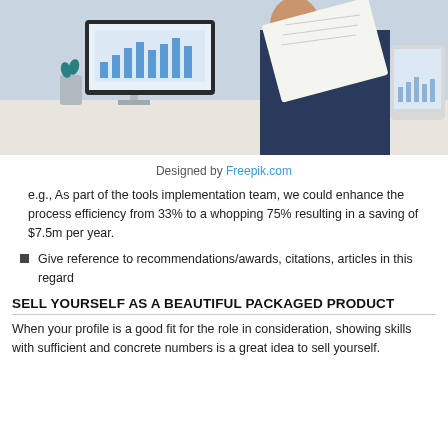[Figure (photo): Office scene: person in navy suit holding printed report papers, desktop computer showing bar chart on screen, scissors in pen holder on desk, tablet in background]
Designed by Freepik.com
e.g., As part of the tools implementation team, we could enhance the process efficiency from 33% to a whopping 75% resulting in a saving of $7.5m per year.
Give reference to recommendations/awards, citations, articles in this regard
SELL YOURSELF AS A BEAUTIFUL PACKAGED PRODUCT
When your profile is a good fit for the role in consideration, showing skills with sufficient and concrete numbers is a great idea to sell yourself.